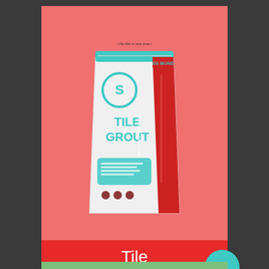[Figure (photo): SS Bond Tile Grout product package bag, white and red with teal accents, on a salmon/coral pink background]
Tile
Grout